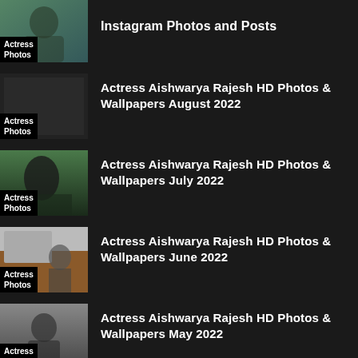[Figure (screenshot): Thumbnail of actress photo with label 'Actress Photos' at bottom]
Instagram Photos and Posts
[Figure (screenshot): Dark thumbnail placeholder with label 'Actress Photos' at bottom]
Actress Aishwarya Rajesh HD Photos and Wallpapers August 2022
[Figure (screenshot): Thumbnail of actress photo showing partial face with label 'Actress Photos' at bottom]
Actress Aishwarya Rajesh HD Photos and Wallpapers July 2022
[Figure (screenshot): Thumbnail of actress photo indoors with label 'Actress Photos' at bottom]
Actress Aishwarya Rajesh HD Photos and Wallpapers June 2022
[Figure (screenshot): Thumbnail of actress photo on grey background with label 'Actress Photos' at bottom]
Actress Aishwarya Rajesh HD Photos and Wallpapers May 2022